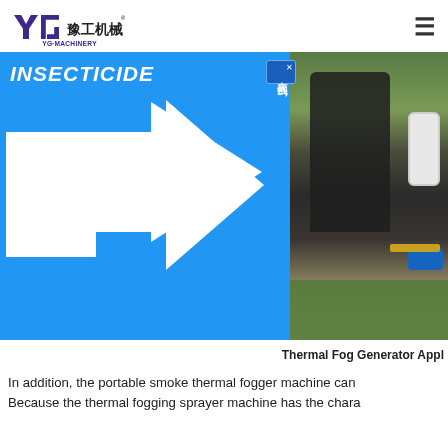YG-MACHINERY 豫工机械
[Figure (photo): Banner image showing 'INSECTICIDE' text with a white arrow on a blue background on the left, and a person using a thermal fogger machine in a greenhouse on the right. An online consultation badge in Chinese (在线咨询) overlays the right side.]
Thermal Fog Generator Appl
In addition, the portable smoke thermal fogger machine can  Because the thermal fogging sprayer machine has the chara